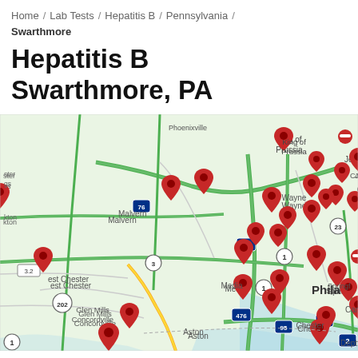Home / Lab Tests / Hepatitis B / Pennsylvania / Swarthmore
Hepatitis B Swarthmore, PA
[Figure (map): Google Maps view of the Philadelphia metropolitan area including Swarthmore PA and surrounding towns (King of Prussia, Malvern, Wayne, Conshohocken, Jenkintown, West Chester, Media, Springfield, Philadelphia, Camden, Glen Mills, Concordville, Aston, Chester, Deptford), with multiple red map pin markers indicating Hepatitis B testing lab locations. Major highways shown include I-76, I-476, I-95, Route 1, Route 3, Route 23, Route 202, Route 309.]